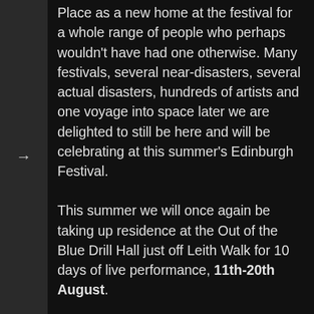Place as a new home at the festival for a whole range of people who perhaps wouldn't have had one otherwise. Many festivals, several near-disasters, several actual disasters, hundreds of artists and one voyage into space later we are delighted to still be here and will be celebrating at this summer's Edinburgh Festival.
This summer we will once again be taking up residence at the Out of the Blue Drill Hall just off Leith Walk for 10 days of live performance, 11th-20th August.
Central to this year's programme will be revivals of 10 pieces from Forest Fringe's first decade by a range of artists who have played a crucial part in making it what it is. Alongside this, those 10 artists have helped curate an accompanying programme of new work that reflects in strange and interesting